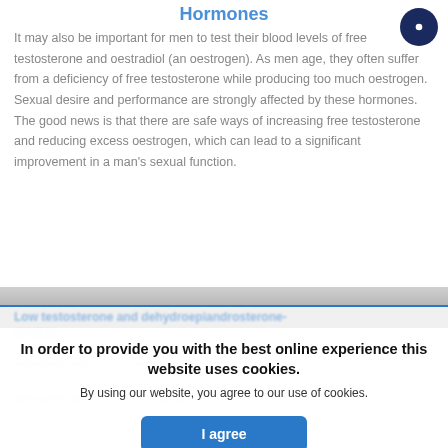Hormones
It may also be important for men to test their blood levels of free testosterone and oestradiol (an oestrogen). As men age, they often suffer from a deficiency of free testosterone while producing too much oestrogen. Sexual desire and performance are strongly affected by these hormones. The good news is that there are safe ways of increasing free testosterone and reducing excess oestrogen, which can lead to a significant improvement in a man's sexual function.
Low testosterone and dehydroepiandrosterone (DHEA)
In order to provide you with the best online experience this website uses cookies.
By using our website, you agree to our use of cookies.
colloquially called... name that this been given to e... in treating
I agree